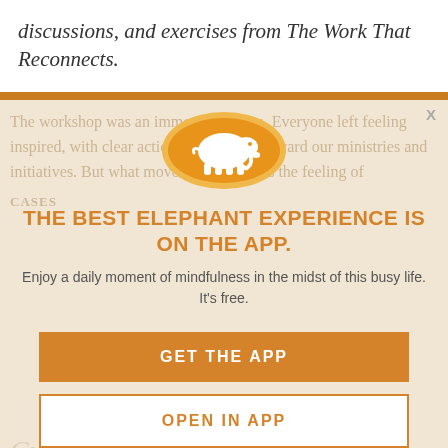discussions, and exercises from The Work That Reconnects.
[Figure (illustration): App promotion modal overlay with elephant logo icon on orange circle, headline, subtext, and two buttons]
THE BEST ELEPHANT EXPERIENCE IS ON THE APP.
Enjoy a daily moment of mindfulness in the midst of this busy life. It's free.
GET THE APP
OPEN IN APP